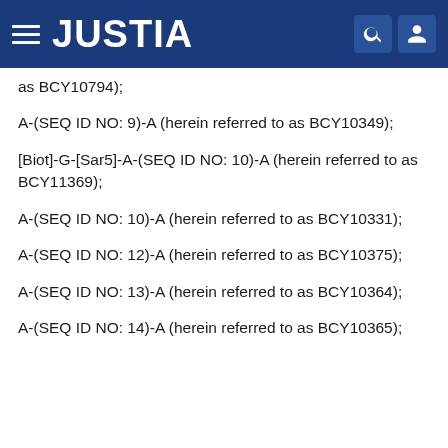JUSTIA
as BCY10794);
A-(SEQ ID NO: 9)-A (herein referred to as BCY10349);
[Biot]-G-[Sar5]-A-(SEQ ID NO: 10)-A (herein referred to as BCY11369);
A-(SEQ ID NO: 10)-A (herein referred to as BCY10331);
A-(SEQ ID NO: 12)-A (herein referred to as BCY10375);
A-(SEQ ID NO: 13)-A (herein referred to as BCY10364);
A-(SEQ ID NO: 14)-A (herein referred to as BCY10365);